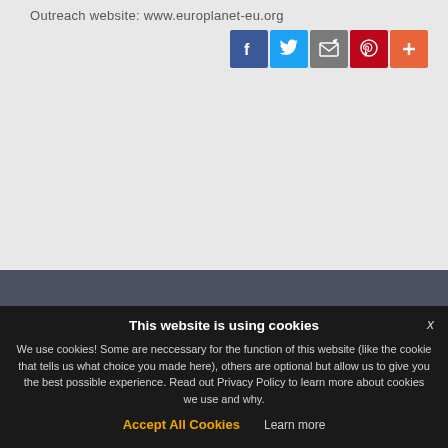Outreach website: www.europlanet-eu.org
[Figure (screenshot): Social media share icons: Facebook (blue), Twitter (light blue), Email/share (grey), Pinterest (dark red), Add/plus (orange-red)]
[Figure (illustration): EU flag (blue background with yellow circle of stars) in bottom-right of dark grey section]
This website is using cookies
We use cookies! Some are neccessary for the function of this website (like the cookie that tells us what choice you made here), others are optional but allow us to give you the best possible experience. Read out Privacy Policy to learn more about cookies we use and why.
Accept All Cookies
Learn more